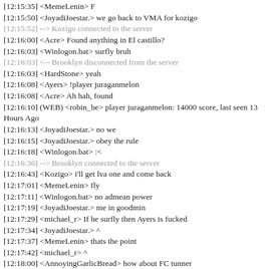[12:15:35] <MemeLenin> F
[12:15:50] <JoyadiJoestar.> we go back to VMA for kozigo
[12:15:52] --> Kozigo connected to the server
[12:16:00] <Acre> Found anything in El castillo?
[12:16:03] <Winlogon.bat> surfly bruh
[12:16:03] <-- Brooklyn disconnected from the server
[12:16:03] <HardStone> yeah
[12:16:08] <Ayers> !player juraganmelon
[12:16:08] <Acre> Ah hah, found
[12:16:10] (WEB) <robin_be> player juraganmelon: 14000 score, last seen 13 Hours Ago
[12:16:13] <JoyadiJoestar.> no we
[12:16:15] <JoyadiJoestar.> obey the rule
[12:16:18] <Winlogon.bat> :<
[12:16:36] --> Brooklyn connected to the server
[12:16:43] <Kozigo> i'll get lva one and come back
[12:17:01] <MemeLenin> fly
[12:17:11] <Winlogon.bat> no admean power
[12:17:19] <JoyadiJoestar.> me in goodmin
[12:17:29] <michael_r> If he surfly then Ayers is fucked
[12:17:34] <JoyadiJoestar.> ^
[12:17:37] <MemeLenin> thats the point
[12:17:42] <michael_r> ^
[12:18:00] <AnnoyingGarlicBread> how about FC tunner
[12:18:02] <MemeLenin> if he get fucked we chat F